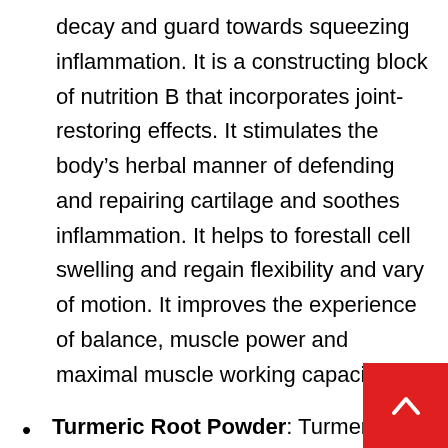decay and guard towards squeezing inflammation. It is a constructing block of nutrition B that incorporates joint-restoring effects. It stimulates the body's herbal manner of defending and repairing cartilage and soothes inflammation. It helps to forestall cell swelling and regain flexibility and vary of motion. It improves the experience of balance, muscle power and maximal muscle working capacity.
Turmeric Root Powder: Turmeric carries curcumin, with effective antioxidant and anti-inflammatory properties. It helps in knee ache remedy and reverses the symptoms of arthr is prosperous in polyphenols that forestall irritation and cartilage destruction. It is used to